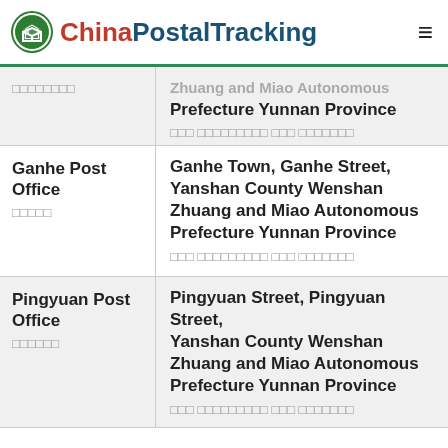ChinaPostalTracking
| Post Office Name | Address |
| --- | --- |
| [partial] | [partial] ...Zhuang and Miao Autonomous Prefecture Yunnan Province [Chinese] |
| Ganhe Post Office [Chinese] | Ganhe Town, Ganhe Street, Yanshan County Wenshan Zhuang and Miao Autonomous Prefecture Yunnan Province [Chinese] |
| Pingyuan Post Office [Chinese] | Pingyuan Street, Pingyuan Street, Yanshan County Wenshan Zhuang and Miao Autonomous Prefecture Yunnan Province [Chinese] |